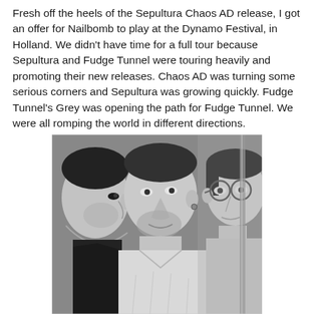Fresh off the heels of the Sepultura Chaos AD release, I got an offer for Nailbomb to play at the Dynamo Festival, in Holland. We didn't have time for a full tour because Sepultura and Fudge Tunnel were touring heavily and promoting their new releases. Chaos AD was turning some serious corners and Sepultura was growing quickly. Fudge Tunnel's Grey was opening the path for Fudge Tunnel. We were all romping the world in different directions.
[Figure (photo): Black and white photograph of three people viewed in close-up profile and three-quarter angles. The person on the left faces right showing their profile, the person in the center faces slightly downward in three-quarter view with facial stubble and an earring, and the person on the right wears round glasses and faces left.]